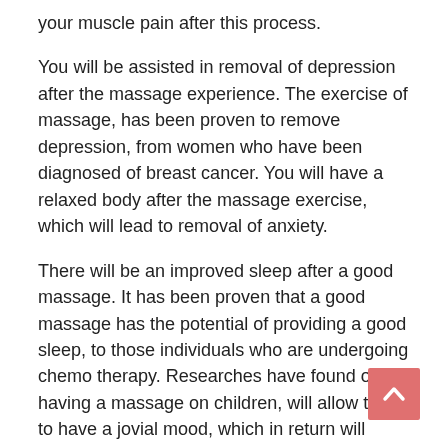your muscle pain after this process.
You will be assisted in removal of depression after the massage experience. The exercise of massage, has been proven to remove depression, from women who have been diagnosed of breast cancer. You will have a relaxed body after the massage exercise, which will lead to removal of anxiety.
There will be an improved sleep after a good massage. It has been proven that a good massage has the potential of providing a good sleep, to those individuals who are undergoing chemo therapy. Researches have found out, having a massage on children, will allow them to have a jovial mood, which in return will prevent them from crying frequently. When you always struggle to obtain sleep, you are advised to make a decision of going for a body massage. Your body will relax hence enable you to sleep properly.
The body immunity will be boosted after the massage experience. A proof which has been shown is that, there is
[Figure (other): Scroll-to-top button: a salmon/coral colored square button with a white upward-pointing chevron arrow icon]